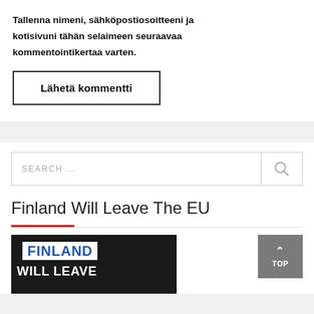Tallenna nimeni, sähköpostiosoitteeni ja kotisivuni tähän selaimeen seuraavaa kommentointikertaa varten.
Lähetä kommentti
SEARCH ...
Finland Will Leave The EU
[Figure (photo): News article thumbnail showing text 'FINLAND WILL LEAVE' overlaid on a dark background with a person visible on the right side.]